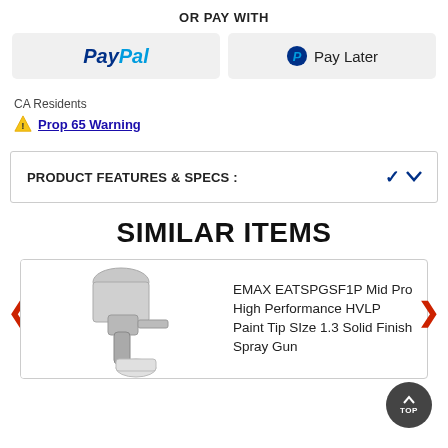OR PAY WITH
[Figure (screenshot): PayPal payment button (gray background, PayPal logo in blue)]
[Figure (screenshot): Pay Later button (gray background, PayPal P icon and 'Pay Later' text)]
CA Residents
⚠ Prop 65 Warning
PRODUCT FEATURES & SPECS :
SIMILAR ITEMS
EMAX EATSPGSF1P Mid Pro High Performance HVLP Paint Tip SIze 1.3 Solid Finish Spray Gun